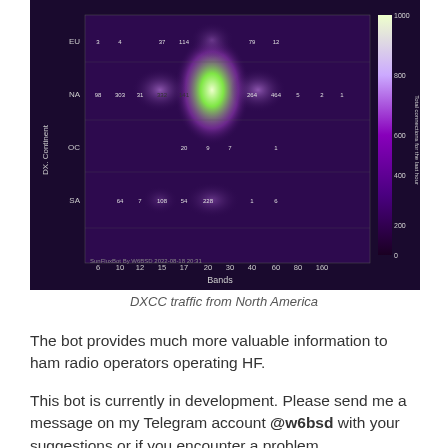[Figure (other): Heat map chart showing DXCC traffic from North America. Y-axis: DX Continent (EU, NA, OC, SA). X-axis: Bands (6, 10, 12, 15, 17, 20, 30, 40, 60, 80, 160). Color scale from 0 to 1000 contacts. Brightest spot at NA row, 20 band. Color bar on right. Watermark: 'SunFluxBot By W6BSD 2022-08-18 20:31']
DXCC traffic from North America
The bot provides much more valuable information to ham radio operators operating HF.
This bot is currently in development. Please send me a message on my Telegram account @w6bsd with your suggestions or if you encounter a problem.